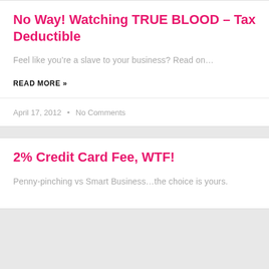No Way! Watching TRUE BLOOD – Tax Deductible
Feel like you're a slave to your business? Read on…
READ MORE »
April 17, 2012  •  No Comments
2% Credit Card Fee, WTF!
Penny-pinching vs Smart Business…the choice is yours.